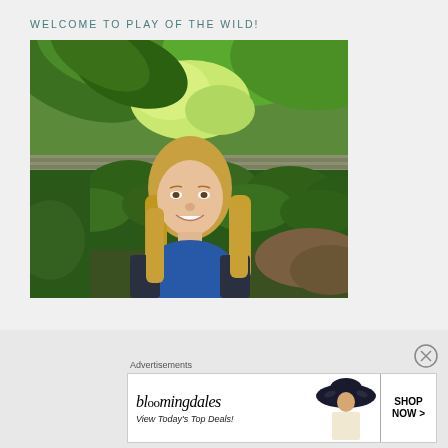WELCOME TO PLAY OF THE WILD!
[Figure (photo): A smiling blonde woman wearing a blue top and dark blazer, standing outdoors in front of lush green foliage and large leaves.]
Advertisements
[Figure (illustration): Bloomingdale's advertisement banner with logo, 'View Today's Top Deals!' text, a woman in a large-brimmed hat, and a 'SHOP NOW >' button.]